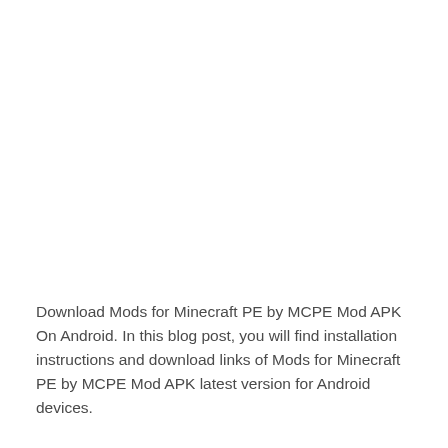Download Mods for Minecraft PE by MCPE Mod APK On Android. In this blog post, you will find installation instructions and download links of Mods for Minecraft PE by MCPE Mod APK latest version for Android devices.